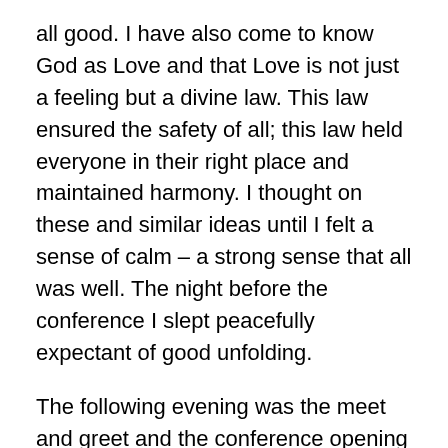all good.  I have also come to know God as Love and that Love is not just a feeling but a divine law.  This law ensured the safety of all; this law held everyone in their right place and maintained harmony.  I thought on these and similar ideas until I felt a sense of calm – a strong sense that all was well.  The night before the conference I slept peacefully expectant of good unfolding.
The following evening was the meet and greet and the conference opening dinner.  When I arrived the hall was already abuzz with excited participants.  Quickly I noticed that there was quite a gathering of people over near the bar.  In the centre of this someone was holding the floor and entertaining a small crowd.  As I moved closer I realised that was my keynote speaker.